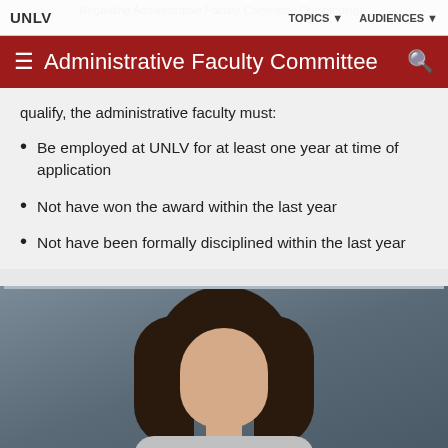UNLV   TOPICS   AUDIENCES
Administrative Faculty Committee
qualify, the administrative faculty must:
Be employed at UNLV for at least one year at time of application
Not have won the award within the last year
Not have been formally disciplined within the last year
[Figure (photo): Portrait photograph of a woman with dark hair against a grey background, cropped at the top of the frame showing head and upper shoulders]